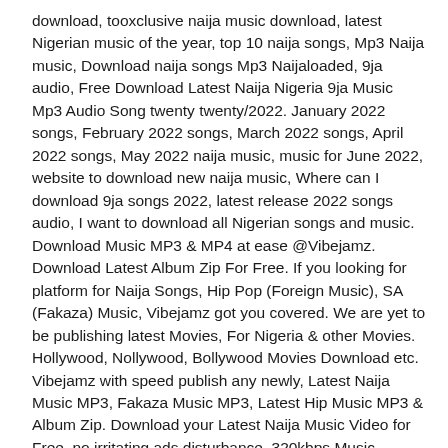download, tooxclusive naija music download, latest Nigerian music of the year, top 10 naija songs, Mp3 Naija music, Download naija songs Mp3 Naijaloaded, 9ja audio, Free Download Latest Naija Nigeria 9ja Music Mp3 Audio Song twenty twenty/2022. January 2022 songs, February 2022 songs, March 2022 songs, April 2022 songs, May 2022 naija music, music for June 2022, website to download new naija music, Where can I download 9ja songs 2022, latest release 2022 songs audio, I want to download all Nigerian songs and music. Download Music MP3 & MP4 at ease @Vibejamz. Download Latest Album Zip For Free. If you looking for platform for Naija Songs, Hip Pop (Foreign Music), SA (Fakaza) Music, Vibejamz got you covered. We are yet to be publishing latest Movies, For Nigeria & other Movies. Hollywood, Nollywood, Bollywood Movies Download etc. Vibejamz with speed publish any newly, Latest Naija Music MP3, Fakaza Music MP3, Latest Hip Music MP3 & Album Zip. Download your Latest Naija Music Video for Free, no irritating ads disturbance. 320kbps Music Format also available.